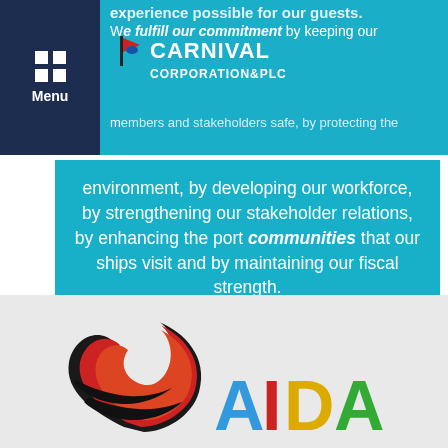[Figure (logo): Carnival Corporation & PLC logo with flag icon]
experience possible for our guests. We fulfill our commitment by keeping our members and stakeholders safe, by protecting the environment, by developing our workforce, by strengthening our stakeholder relations, by enhancing the port communities that our ships visit and by maintaining our fiscal strength.
[Figure (logo): AIDA Cruises logo with red flame/sail graphic and colorful AIDA text]